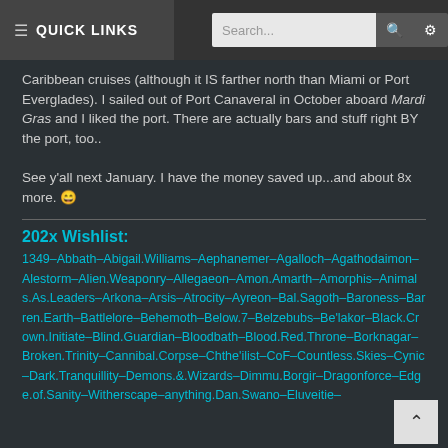≡ QUICK LINKS   Search...
Caribbean cruises (although it IS farther north than Miami or Port Everglades). I sailed out of Port Canaveral in October aboard Mardi Gras and I liked the port. There are actually bars and stuff right BY the port, too..
See y'all next January. I have the money saved up...and about 8x more. 😄
202x Wishlist:
1349–Abbath–Abigail.Williams–Aephanemer–Agalloch–Agathodaimon–Alestorm–Alien.Weaponry–Allegaeon–Amon.Amarth–Amorphis–Animals.As.Leaders–Arkona–Arsis–Atrocity–Ayreon–Bal.Sagoth–Baroness–Barren.Earth–Battlelore–Behemoth–Below.7–Belzebubs–Be'lakor–Black.Crown.Initiate–Blind.Guardian–Bloodbath–Blood.Red.Throne–Borknagar–Broken.Trinity–Cannibal.Corpse–Chthe'ilist–CoF–Countless.Skies–Cynic–Dark.Tranquillity–Demons.&.Wizards–Dimmu.Borgir–Dragonforce–Edge.of.Sanity–Witherscape–anything.Dan.Swano–Eluveitie–